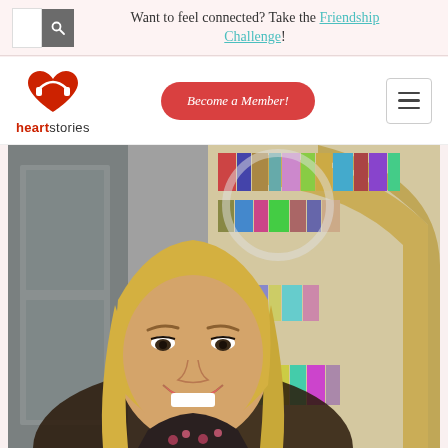Want to feel connected? Take the Friendship Challenge!
[Figure (logo): Heartstories logo with red heart icon and text 'heartstories']
Become a Member!
[Figure (photo): A smiling blonde woman in front of a bookshelf with a gold arch-shaped bookcase filled with books, in what appears to be a video call setting with a ring light visible.]